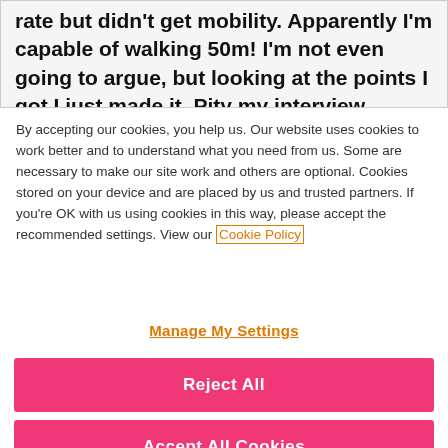rate but didn't get mobility. Apparently I'm capable of walking 50m! I'm not even going to argue, but looking at the points I got I just made it. Pity my interview wasn't just after surgery
By accepting our cookies, you help us. Our website uses cookies to work better and to understand what you need from us. Some are necessary to make our site work and others are optional. Cookies stored on your device and are placed by us and trusted partners. If you're OK with us using cookies in this way, please accept the recommended settings. View our Cookie Policy
Manage My Settings
Reject All
Accept All Cookies